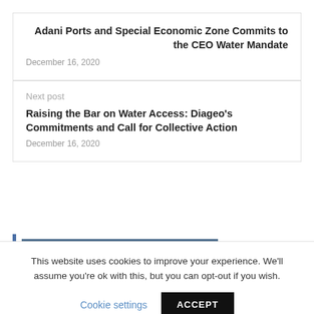Adani Ports and Special Economic Zone Commits to the CEO Water Mandate
December 16, 2020
Next post
Raising the Bar on Water Access: Diageo's Commitments and Call for Collective Action
December 16, 2020
JOIN A WEBINAR
This website uses cookies to improve your experience. We'll assume you're ok with this, but you can opt-out if you wish.
Cookie settings
ACCEPT